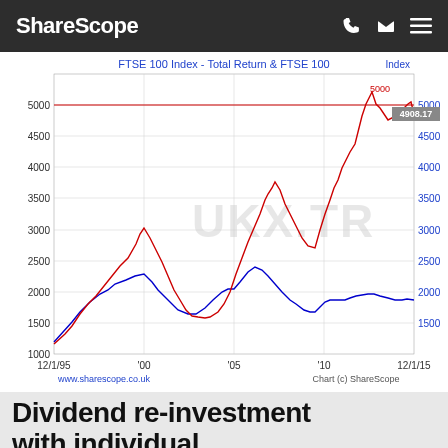ShareScope
[Figure (continuous-plot): Dual line chart showing FTSE 100 Total Return index (red) and FTSE 100 index (blue) from 12/1/95 to 12/1/15. Red line reaches ~5000+ peak, blue line reaches ~2500. Watermark UKX.TR visible. Value label 4908.17 shown at end of red line. Horizontal red reference line at 5000.]
Dividend re-investment with individual